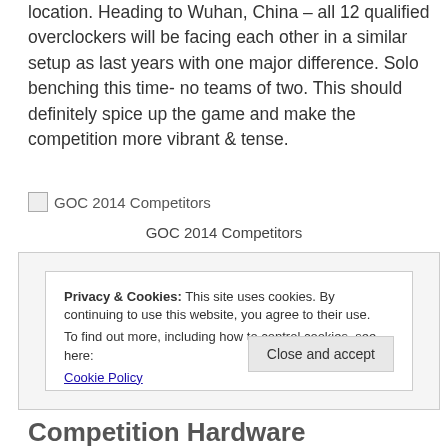location. Heading to Wuhan, China – all 12 qualified overclockers will be facing each other in a similar setup as last years with one major difference. Solo benching this time- no teams of two. This should definitely spice up the game and make the competition more vibrant & tense.
[Figure (other): Broken image placeholder for GOC 2014 Competitors]
GOC 2014 Competitors
Privacy & Cookies: This site uses cookies. By continuing to use this website, you agree to their use.
To find out more, including how to control cookies, see here:
Cookie Policy
Close and accept
Competition Hardware